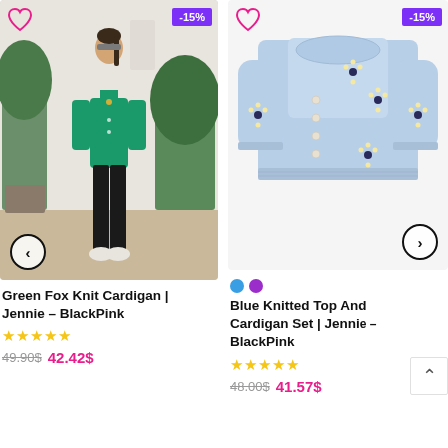[Figure (photo): Model wearing a green knit cardigan with black pants, standing in a room with plants. Has a -15% discount badge, heart icon, and left navigation arrow.]
Green Fox Knit Cardigan | Jennie – BlackPink
★★★★★
49.90$ 42.42$
[Figure (photo): Blue knitted crop cardigan and top set with floral embroidery on white background. Has -15% badge, heart icon, and right navigation arrow. Color swatches: blue and purple.]
Blue Knitted Top And Cardigan Set | Jennie BlackPink
★★★★★
48.00$ 41.57$